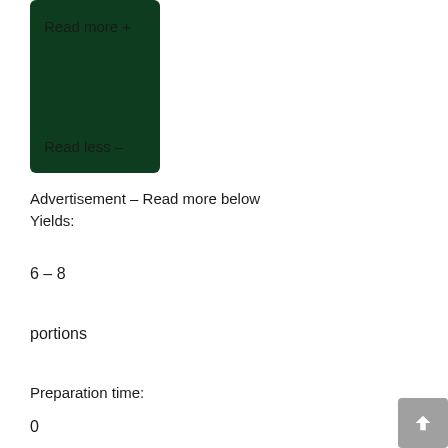[Figure (other): Dark green rounded rectangle UI card with 'Read more +' and 'Read less –' buttons]
Advertisement – Read more below
Yields:
6 – 8
portions
Preparation time:
0